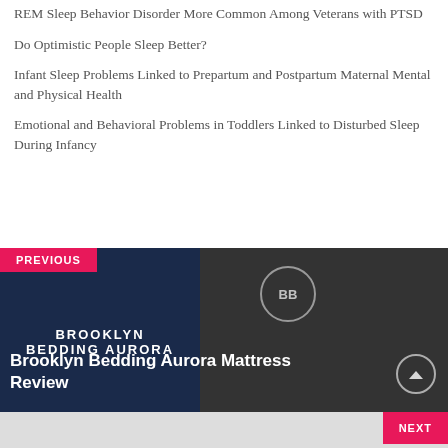REM Sleep Behavior Disorder More Common Among Veterans with PTSD
Do Optimistic People Sleep Better?
Infant Sleep Problems Linked to Prepartum and Postpartum Maternal Mental and Physical Health
Emotional and Behavioral Problems in Toddlers Linked to Disturbed Sleep During Infancy
[Figure (screenshot): Navigation block showing PREVIOUS label in pink/red, Brooklyn Bedding Aurora logo on dark navy background on the left, mattress image on dark right side, with title 'Brooklyn Bedding Aurora Mattress Review' in white bold text overlay]
[Figure (screenshot): Bottom strip showing NEXT label in pink/red on the right]